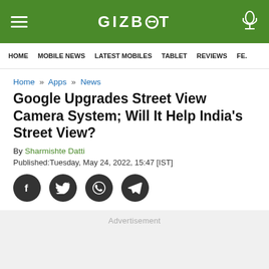GIZBOT
HOME · MOBILE NEWS · LATEST MOBILES · TABLET · REVIEWS · FE...
Home » Apps » News
Google Upgrades Street View Camera System; Will It Help India's Street View?
By Sharmishte Datti
Published:Tuesday, May 24, 2022, 15:47 [IST]
[Figure (other): Social sharing icons: Facebook, Twitter, WhatsApp, Telegram]
Advertisement